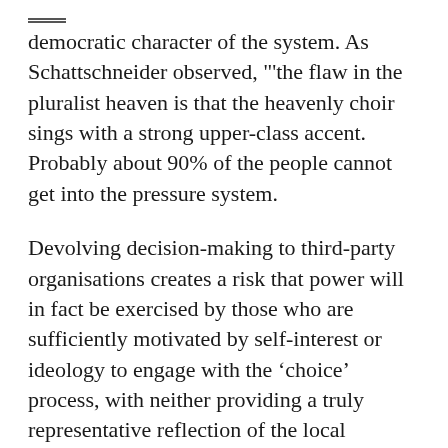democratic character of the system. As Schattschneider observed, "'the flaw in the pluralist heaven is that the heavenly choir sings with a strong upper-class accent. Probably about 90% of the people cannot get into the pressure system.
Devolving decision-making to third-party organisations creates a risk that power will in fact be exercised by those who are sufficiently motivated by self-interest or ideology to engage with the ‘choice’ process, with neither providing a truly representative reflection of the local community’s views. In this way, open public services may become an oligarchy of the self-interested or enthusiastic.
One of the core concerns for administrative law or regulation over recent decades has been to minimise the potential for self-